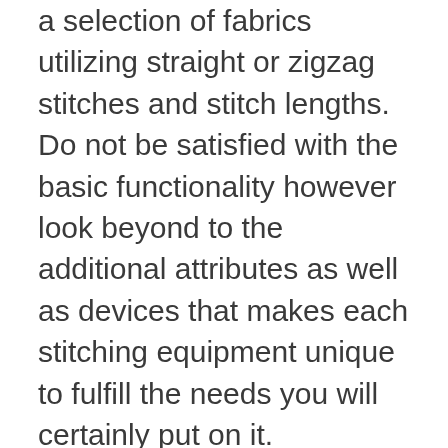a selection of fabrics utilizing straight or zigzag stitches and stitch lengths. Do not be satisfied with the basic functionality however look beyond to the additional attributes as well as devices that makes each stitching equipment unique to fulfill the needs you will certainly put on it.
You should likewise ask how powerful the motor is, how many stitches per minute, as well as exactly how it is developed. The motor is the life of any kind of stitching maker. You do not intend to get captured without enough power to finish your task.
Every embroidery machine will have some plastic outside. However, if you are meeting likely to stitch a fair bit, you